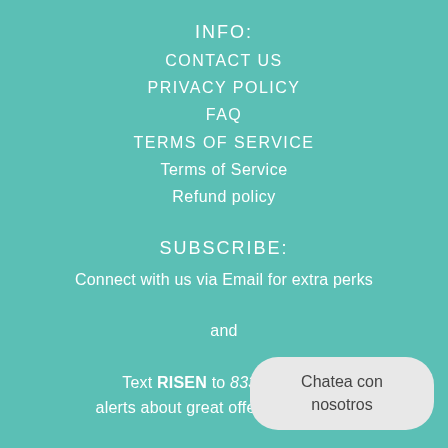INFO:
CONTACT US
PRIVACY POLICY
FAQ
TERMS OF SERVICE
Terms of Service
Refund policy
SUBSCRIBE:
Connect with us via Email for extra perks and Text RISEN to 8335262110: alerts about great offers & updates!
Chatea con nosotros